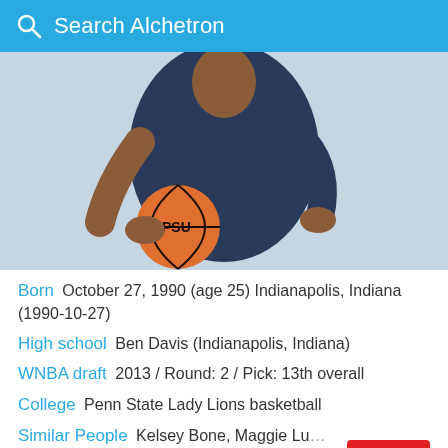Search Alchetron
[Figure (photo): Basketball player in dark navy uniform holding a PSU basketball, seated pose with hand on hip]
Born  October 27, 1990 (age 25) Indianapolis, Indiana (1990-10-27)
High school  Ben Davis (Indianapolis, Indiana)
WNBA draft  2013 / Round: 2 / Pick: 13th overall
College  Penn State Lady Lions basketball
Similar People  Kelsey Bone, Maggie Lu… Alyssa Thomas, Tiffany Hayes, Angel Mc…